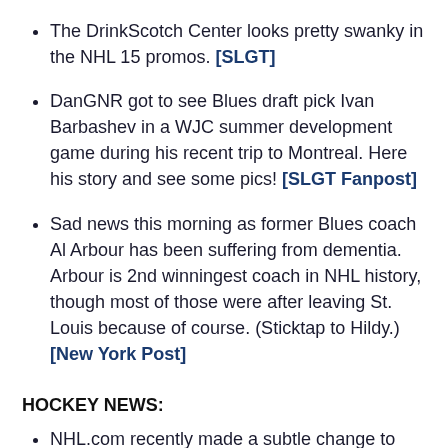The DrinkScotch Center looks pretty swanky in the NHL 15 promos. [SLGT]
DanGNR got to see Blues draft pick Ivan Barbashev in a WJC summer development game during his recent trip to Montreal. Here his story and see some pics! [SLGT Fanpost]
Sad news this morning as former Blues coach Al Arbour has been suffering from dementia. Arbour is 2nd winningest coach in NHL history, though most of those were after leaving St. Louis because of course. (Sticktap to Hildy.) [New York Post]
HOCKEY NEWS:
NHL.com recently made a subtle change to their Terms & Conditions of service agreement, and